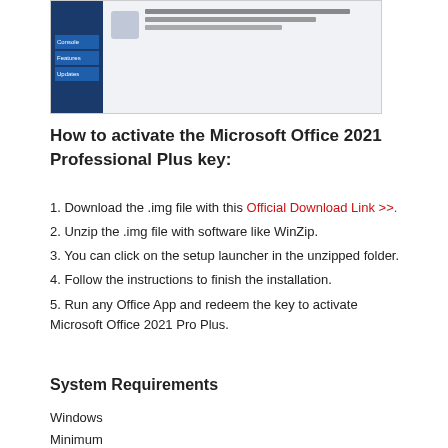[Figure (screenshot): Screenshot of Microsoft Office 2021 installation/activation interface showing a dark blue sidebar with menu items and a main content area with text.]
How to activate the Microsoft Office 2021 Professional Plus key:
1. Download the .img file with this Official Download Link >>.
2. Unzip the .img file with software like WinZip.
3. You can click on the setup launcher in the unzipped folder.
4. Follow the instructions to finish the installation.
5. Run any Office App and redeem the key to activate Microsoft Office 2021 Pro Plus.
System Requirements
Windows
Minimum